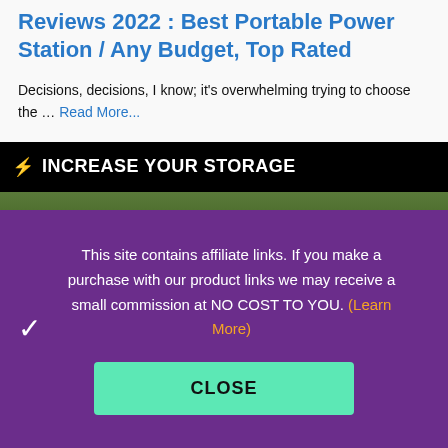Reviews 2022 : Best Portable Power Station / Any Budget, Top Rated
Decisions, decisions, I know; it's overwhelming trying to choose the … Read More...
⚡ INCREASE YOUR STORAGE
[Figure (photo): Partial view of outdoor scene with green foliage]
This site contains affiliate links. If you make a purchase with our product links we may receive a small commission at NO COST TO YOU. (Learn More)
CLOSE